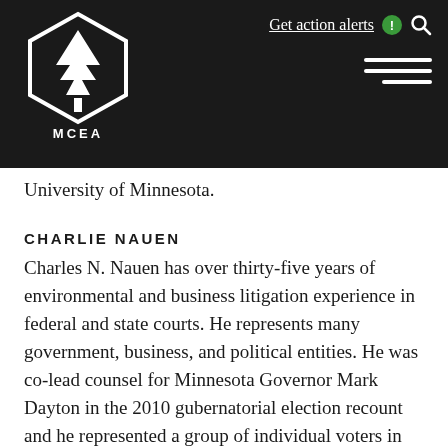[Figure (logo): MCEA logo: white hexagon outline with a white pine tree silhouette inside, text MCEA below the tree, on a dark/black background]
Get action alerts  [alert icon]  [search icon]  [hamburger menu]
University of Minnesota.
CHARLIE NAUEN
Charles N. Nauen has over thirty-five years of environmental and business litigation experience in federal and state courts. He represents many government, business, and political entities. He was co-lead counsel for Minnesota Governor Mark Dayton in the 2010 gubernatorial election recount and he represented a group of individual voters in an effort to